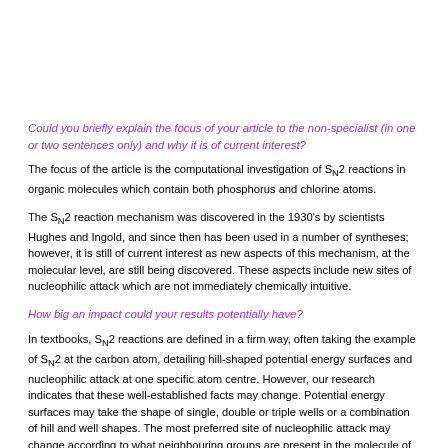Could you briefly explain the focus of your article to the non-specialist (in one or two sentences only) and why it is of current interest?
The focus of the article is the computational investigation of SN2 reactions in organic molecules which contain both phosphorus and chlorine atoms.
The SN2 reaction mechanism was discovered in the 1930's by scientists Hughes and Ingold, and since then has been used in a number of syntheses; however, it is still of current interest as new aspects of this mechanism, at the molecular level, are still being discovered. These aspects include new sites of nucleophilic attack which are not immediately chemically intuitive.
How big an impact could your results potentially have?
In textbooks, SN2 reactions are defined in a firm way, often taking the example of SN2 at the carbon atom, detailing hill-shaped potential energy surfaces and nucleophilic attack at one specific atom centre. However, our research indicates that these well-established facts may change. Potential energy surfaces may take the shape of single, double or triple wells or a combination of hill and well shapes. The most preferred site of nucleophilic attack may change according to what neighbouring groups are present in the molecule of interest; this is important to include, and to study, in the